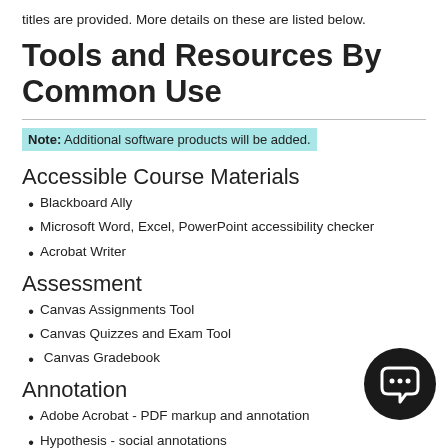titles are provided. More details on these are listed below.
Tools and Resources By Common Use
Note: Additional software products will be added.
Accessible Course Materials
Blackboard Ally
Microsoft Word, Excel, PowerPoint accessibility checker
Acrobat Writer
Assessment
Canvas Assignments Tool
Canvas Quizzes and Exam Tool
Canvas Gradebook
Annotation
Adobe Acrobat - PDF markup and annotation
Hypothesis - social annotations
Communication